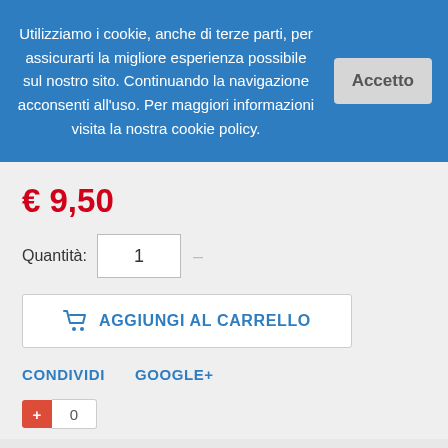Utilizziamo i cookie, anche di terze parti, per assicurarti la migliore esperienza possibile sul nostro sito. Continuando la navigazione acconsenti all’uso. Per maggiori informazioni visita la nostra cookie policy.
€ 9,50
Quantità: 1
AGGIUNGI AL CARRELLO
CONDIVIDI
GOOGLE+
0